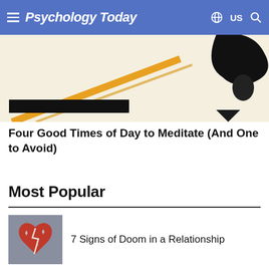Psychology Today — US
[Figure (photo): Abstract close-up image with black and orange diagonal shapes, partial view of musical notes or clock-like curved forms on white/cream background, black bar at bottom]
Four Good Times of Day to Meditate (And One to Avoid)
Most Popular
[Figure (photo): Thumbnail image of a broken red heart on a grey textured background with small pins or nails in it]
7 Signs of Doom in a Relationship